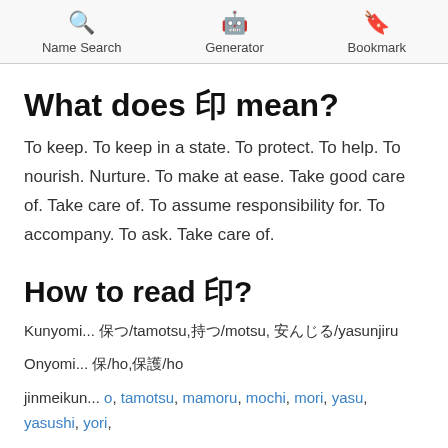Name Search  Generator  Bookmark
What does 〖 mean?
To keep. To keep in a state. To protect. To help. To nourish. Nurture. To make at ease. Take good care of. Take care of. To assume responsibility for. To accompany. To ask. Take care of.
How to read 〖?
Kunyomi... 〖〗〖/tamotsu,〖〗/motsu, 〖〗〖〗〖〗/yasunjiru
Onyomi... 〖/ho,〖〗/ho
jinmeikun... o, tamotsu, mamoru, mochi, mori, yasu, yasushi, yori,